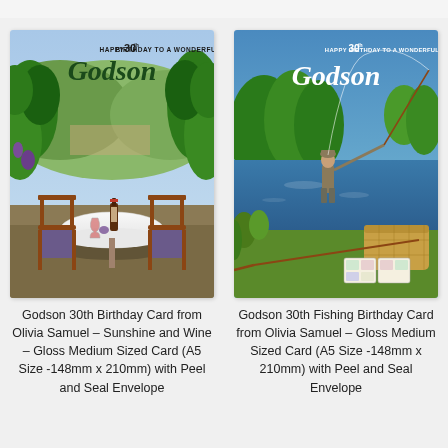[Figure (illustration): Birthday card showing a vineyard outdoor table setting with wine bottles, glasses, chairs, lush green vines and hills in background. Text reads Happy 30th Birthday to a Wonderful Godson in elegant script.]
Godson 30th Birthday Card from Olivia Samuel – Sunshine and Wine – Gloss Medium Sized Card (A5 Size -148mm x 210mm) with Peel and Seal Envelope
[Figure (illustration): Birthday card showing a fly fisherman wading in a river, with a fishing rod, wicker basket, and flies on the riverbank. Text reads Happy 30th Birthday to a Wonderful Godson in elegant script.]
Godson 30th Fishing Birthday Card from Olivia Samuel – Gloss Medium Sized Card (A5 Size -148mm x 210mm) with Peel and Seal Envelope